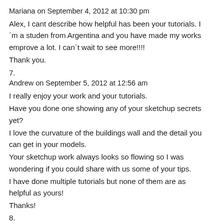Mariana on September 4, 2012 at 10:30 pm
Alex, I cant describe how helpful has been your tutorials. I ´m a studen from Argentina and you have made my works emprove a lot. I can´t wait to see more!!!! Thank you.
7.
Andrew on September 5, 2012 at 12:56 am
I really enjoy your work and your tutorials.
Have you done one showing any of your sketchup secrets yet?
I love the curvature of the buildings wall and the detail you can get in your models.
Your sketchup work always looks so flowing so I was wondering if you could share with us some of your tips.
I have done multiple tutorials but none of them are as helpful as yours!
Thanks!
8.